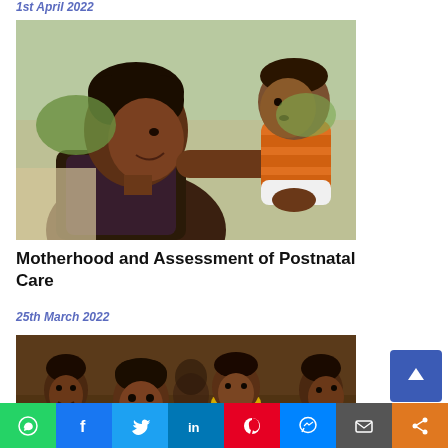1st April 2022
[Figure (photo): A woman holding a baby up, looking at each other, outdoors in Africa]
Motherhood and Assessment of Postnatal Care
25th March 2022
[Figure (photo): Group of African children smiling, seated indoors]
WhatsApp Facebook Twitter LinkedIn Pinterest Messenger Email Share social sharing bar